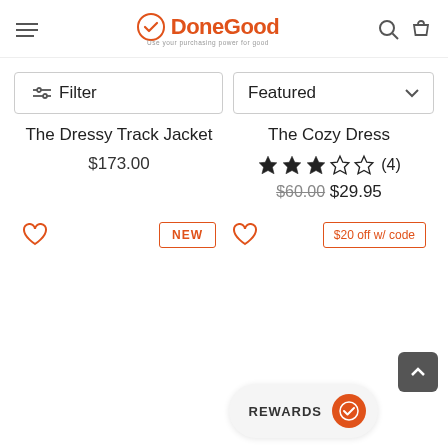DoneGood — Use your purchasing power for good
Filter
Featured
The Dressy Track Jacket
$173.00
The Cozy Dress
★★★☆☆ (4)
$60.00 $29.95
NEW
$20 off w/ code
REWARDS